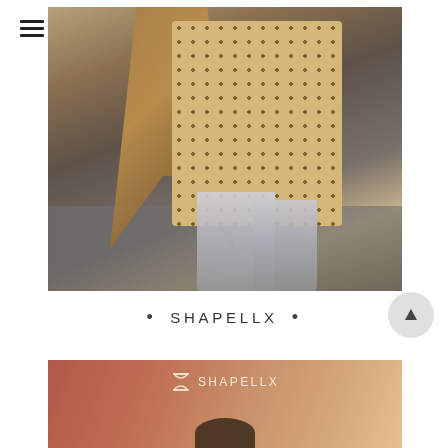[Figure (photo): Street style fashion photo showing a person wearing a polka dot tiered dress, camel/brown oversized coat or cape, and silver metallic cowboy boots, walking on a street pavement. The photo is cropped from the waist down.]
• SHAPELLX •
[Figure (photo): Shapellx brand banner/advertisement with a warm terracotta and peach gradient background, featuring the Shapellx logo (hourglass icon and SHAPELLX text) and the top of a model's curly hair visible at the bottom edge.]